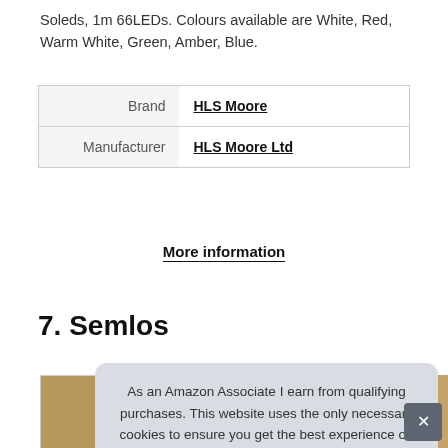Soleds, 1m 66LEDs. Colours available are White, Red, Warm White, Green, Amber, Blue.
| Brand | HLS Moore |
| Manufacturer | HLS Moore Ltd |
More information
7. Semlos
As an Amazon Associate I earn from qualifying purchases. This website uses the only necessary cookies to ensure you get the best experience on our website. More information